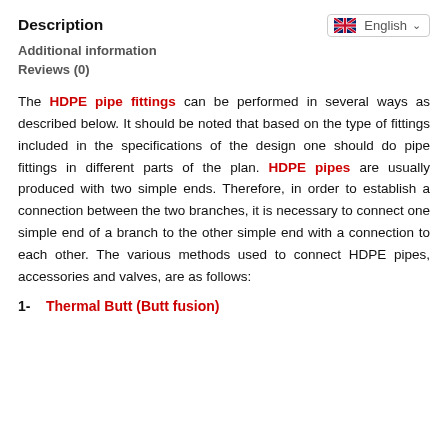Description
[Figure (other): English language selector dropdown with UK flag]
Additional information
Reviews (0)
The HDPE pipe fittings can be performed in several ways as described below. It should be noted that based on the type of fittings included in the specifications of the design one should do pipe fittings in different parts of the plan. HDPE pipes are usually produced with two simple ends. Therefore, in order to establish a connection between the two branches, it is necessary to connect one simple end of a branch to the other simple end with a connection to each other. The various methods used to connect HDPE pipes, accessories and valves, are as follows:
1-   Thermal Butt (Butt fusion)